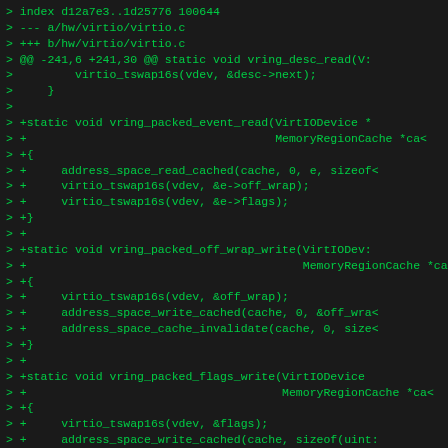[Figure (screenshot): A dark-background terminal/diff view showing a unified diff of virtio.c in green monospace text. Lines show git diff header and added C functions: vring_packed_event_read, vring_packed_off_wrap_write, vring_packed_flags_write.]